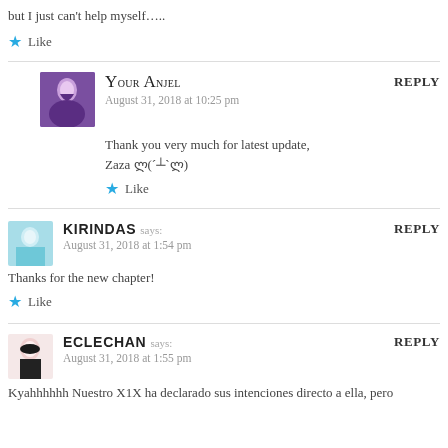but I just can't help myself…..
★ Like
Your Anjel says: August 31, 2018 at 10:25 pm REPLY
Thank you very much for latest update,
Zaza ლ(´┴`ლ)
★ Like
KIRINDAS says: August 31, 2018 at 1:54 pm REPLY
Thanks for the new chapter!
★ Like
ECLECHAN says: August 31, 2018 at 1:55 pm REPLY
Kyahhhhhh Nuestro X1X ha declarado sus intenciones directo a ella, pero